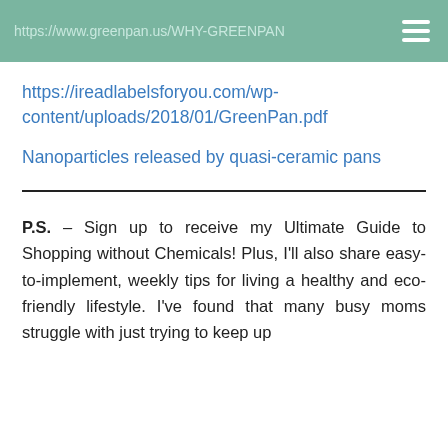https://www.greenpan.us/WHY-GREENPAN
https://ireadlabelsforyou.com/wp-content/uploads/2018/01/GreenPan.pdf
Nanoparticles released by quasi-ceramic pans
P.S. – Sign up to receive my Ultimate Guide to Shopping without Chemicals! Plus, I'll also share easy-to-implement, weekly tips for living a healthy and eco-friendly lifestyle. I've found that many busy moms struggle with just trying to keep up